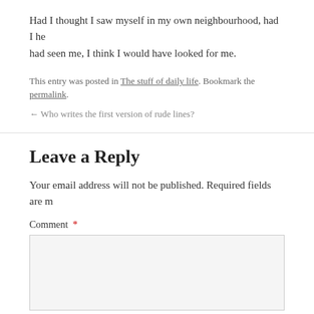Had I thought I saw myself in my own neighbourhood, had I he had seen me, I think I would have looked for me.
This entry was posted in The stuff of daily life. Bookmark the permalink.
← Who writes the first version of rude lines?
Leave a Reply
Your email address will not be published. Required fields are m
Comment *